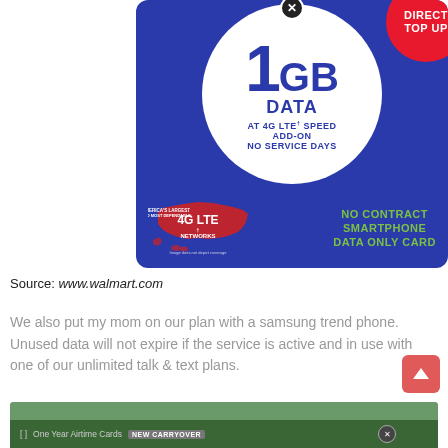[Figure (infographic): Straight Talk 1 GB Data Add-On card with Direct Top Up badge. Blue card with white circle showing '1 GB DATA AT 4G LTE+ SPEED ADD-ON NO SERVICE DAYS'. Bottom shows US map with '4G LTE Networks' and 'NO CONTRACT SMARTPHONE DATA ONLY CARD' text.]
Source: www.walmart.com
We also put my mom on our plan with a samsung trend phone. Unused data will not expire if the service is active and in use with one of our unlimited talk & text plans.
[Figure (screenshot): Partial screenshot of a webpage showing a green navigation bar with 'One Year Airtime Cards' tab and a 'CARRYOVER' badge.]